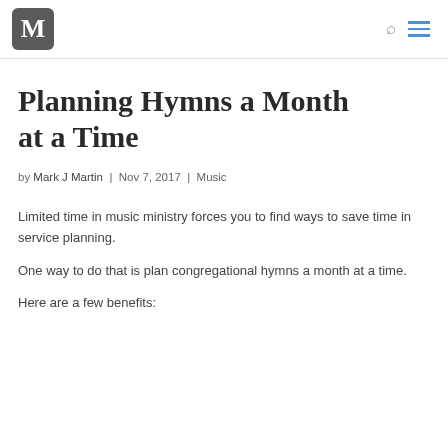M
Planning Hymns a Month at a Time
by Mark J Martin | Nov 7, 2017 | Music
Limited time in music ministry forces you to find ways to save time in service planning.
One way to do that is plan congregational hymns a month at a time.
Here are a few benefits: